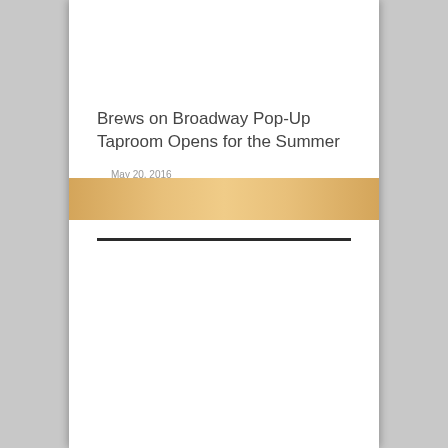Brews on Broadway Pop-Up Taproom Opens for the Summer
May 20, 2016